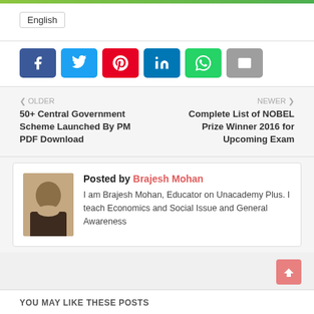[Figure (other): Green gradient top bar image strip]
English
[Figure (other): Social share buttons: Facebook, Twitter, Pinterest, LinkedIn, WhatsApp, Email]
< OLDER
50+ Central Government Scheme Launched By PM PDF Download
NEWER >
Complete List of NOBEL Prize Winner 2016 for Upcoming Exam
Posted by Brajesh Mohan
I am Brajesh Mohan, Educator on Unacademy Plus. I teach Economics and Social Issue and General Awareness
YOU MAY LIKE THESE POSTS